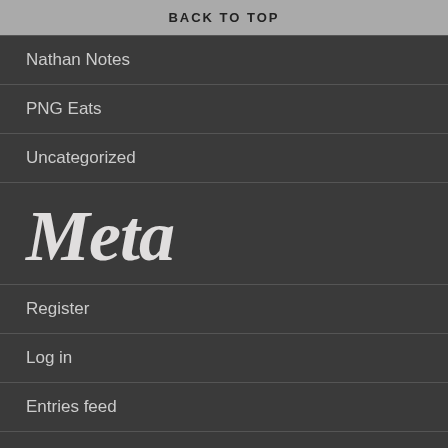BACK TO TOP
Nathan Notes
PNG Eats
Uncategorized
Meta
Register
Log in
Entries feed
Comments feed